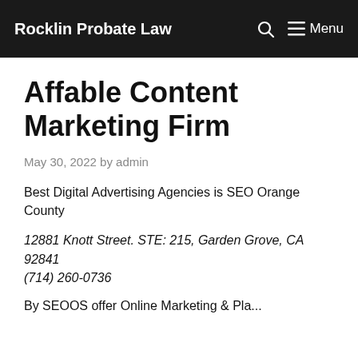Rocklin Probate Law
Affable Content Marketing Firm
May 30, 2022 by admin
Best Digital Advertising Agencies is SEO Orange County
12881 Knott Street. STE: 215, Garden Grove, CA 92841
(714) 260-0736
By SEOOS offer Online Marketing & Place...